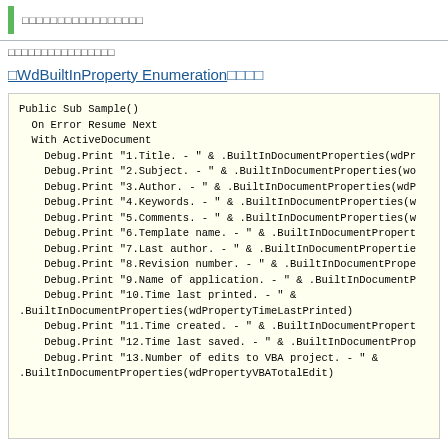□□□□□□□□□□□□□□□□□
□□□□□□□□□□□□□□□□
□WdBuiltInProperty Enumeration□□□□
Public Sub Sample()
  On Error Resume Next
  With ActiveDocument
    Debug.Print "1.Title. - " & .BuiltInDocumentProperties(wdPr
    Debug.Print "2.Subject. - " & .BuiltInDocumentProperties(wo
    Debug.Print "3.Author. - " & .BuiltInDocumentProperties(wdP
    Debug.Print "4.Keywords. - " & .BuiltInDocumentProperties(w
    Debug.Print "5.Comments. - " & .BuiltInDocumentProperties(w
    Debug.Print "6.Template name. - " & .BuiltInDocumentPropert
    Debug.Print "7.Last author. - " & .BuiltInDocumentPropertie
    Debug.Print "8.Revision number. - " & .BuiltInDocumentPrope
    Debug.Print "9.Name of application. - " & .BuiltInDocumentP
    Debug.Print "10.Time last printed. - " &
.BuiltInDocumentProperties(wdPropertyTimeLastPrinted)
    Debug.Print "11.Time created. - " & .BuiltInDocumentPropert
    Debug.Print "12.Time last saved. - " & .BuiltInDocumentProp
    Debug.Print "13.Number of edits to VBA project. - " &
.BuiltInDocumentProperties(wdPropertyVBATotalEdit)